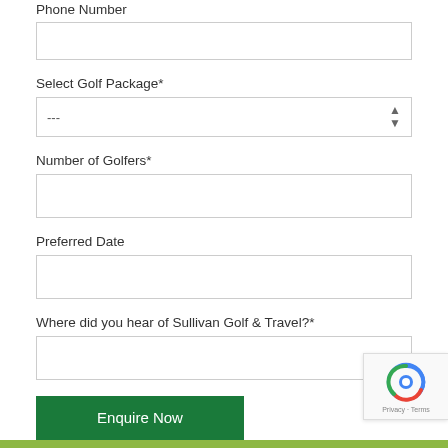Phone Number
Select Golf Package*
Number of Golfers*
Preferred Date
Where did you hear of Sullivan Golf & Travel?*
Enquire Now